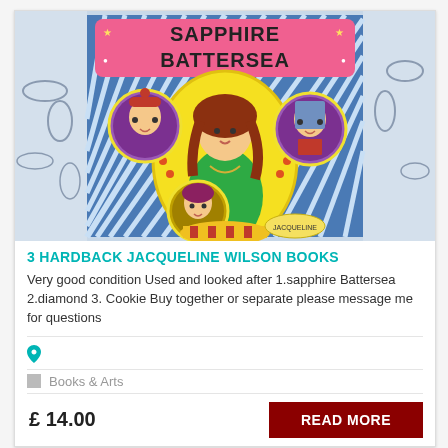[Figure (photo): Book cover of 'Sapphire Battersea' by Jacqueline Wilson, showing a colorful illustrated cover with a girl with long red hair wearing a green dress, surrounded by circular portraits of other characters, on a blue and white striped background. The book is photographed against a floral fabric background.]
3 HARDBACK JACQUELINE WILSON BOOKS
Very good condition Used and looked after 1.sapphire Battersea 2.diamond 3. Cookie Buy together or separate please message me for questions
Books & Arts
£ 14.00
READ MORE